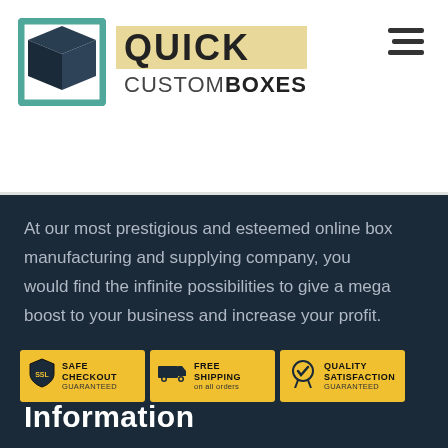[Figure (logo): Quick Custom Boxes logo with a box icon on the left and the company name on the right. 'QUICK' in bold on a tan/gold background, 'CUSTOM' in light weight and 'BOXES' in bold below.]
At our most prestigious and esteemed online box manufacturing and supplying company, you would find the infinite possibilities to give a mega boost to your business and increase your profit.
[Figure (infographic): Three yellow badge icons side by side: 1) SSL Safe Checkout Guaranteed, 2) Free Shipping on all orders, 3) Quality Satisfaction Guaranteed]
Information